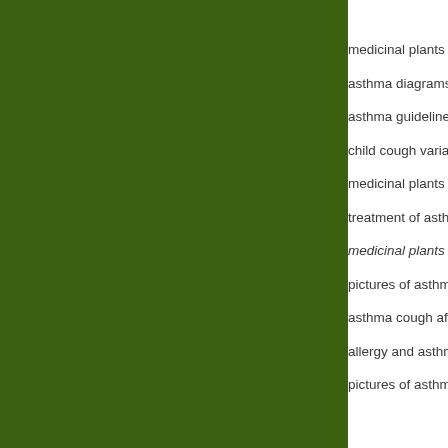[Figure (photo): Large dark olive/forest green rectangular panel occupying the left ~78% of the page]
medicinal plants as...
asthma diagrams
asthma guideline 2...
child cough variant...
medicinal plants as...
treatment of asthm...
medicinal plants as... (italic)
pictures of asthma...
asthma cough afte...
allergy and asthma...
pictures of asthma...